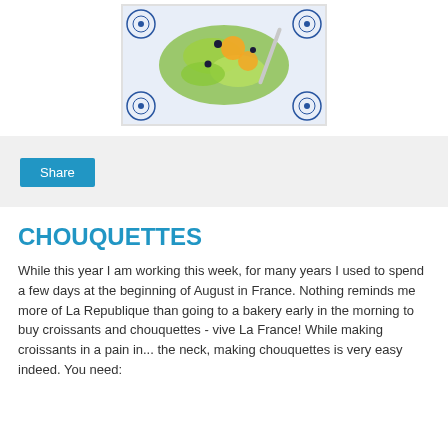[Figure (photo): A salad with green vegetables and orange segments served on a blue and white decorative plate, with a fork visible]
[Figure (screenshot): Social share bar with a blue Share button on a light gray background]
CHOUQUETTES
While this year I am working this week, for many years I used to spend a few days at the beginning of August in France. Nothing reminds me more of La Republique than going to a bakery early in the morning to buy croissants and chouquettes - vive La France! While making croissants in a pain in... the neck, making chouquettes is very easy indeed. You need: